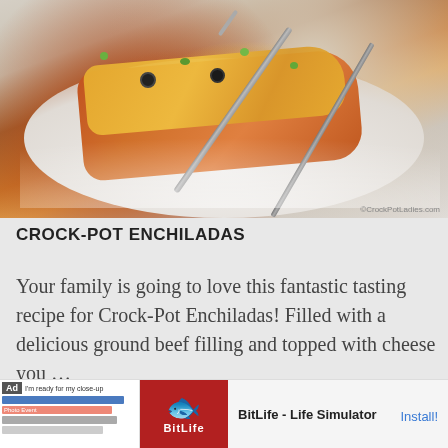[Figure (photo): Photo of a serving of Crock-Pot Enchiladas on a white plate, topped with melted orange cheese, black olives, and green peppers, with a fork resting on the plate. Watermark: ©CrockPotLadies.com]
CROCK-POT ENCHILADAS
Your family is going to love this fantastic tasting recipe for Crock-Pot Enchiladas! Filled with a delicious ground beef filling and topped with cheese you …
[Figure (screenshot): Advertisement banner for BitLife - Life Simulator app. Shows ad label, app screenshot mockup, BitLife logo on red background with sperm icon, app name 'BitLife - Life Simulator', and 'Install!' button.]